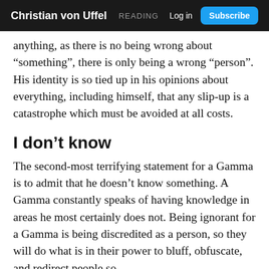Christian von Uffel  READING  Log in  Subscribe
anything, as there is no being wrong about “something”, there is only being a wrong “person”. His identity is so tied up in his opinions about everything, including himself, that any slip-up is a catastrophe which must be avoided at all costs.
I don’t know
The second-most terrifying statement for a Gamma is to admit that he doesn’t know something. A Gamma constantly speaks of having knowledge in areas he most certainly does not. Being ignorant for a Gamma is being discredited as a person, so they will do what is in their power to bluff, obfuscate, and redirect people so